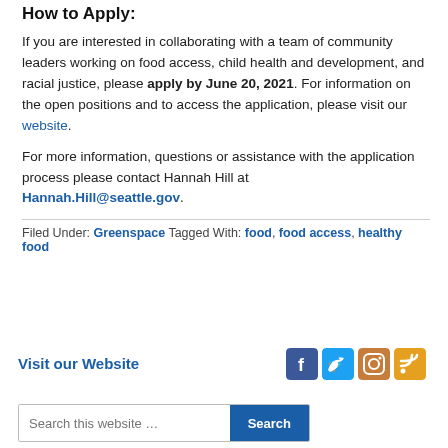How to Apply:
If you are interested in collaborating with a team of community leaders working on food access, child health and development, and racial justice, please apply by June 20, 2021. For information on the open positions and to access the application, please visit our website.
For more information, questions or assistance with the application process please contact Hannah Hill at Hannah.Hill@seattle.gov.
Filed Under: Greenspace Tagged With: food, food access, healthy food
Visit our Website
[Figure (other): Social media icons: Facebook, Twitter, Instagram, RSS feed]
Search this website … Search